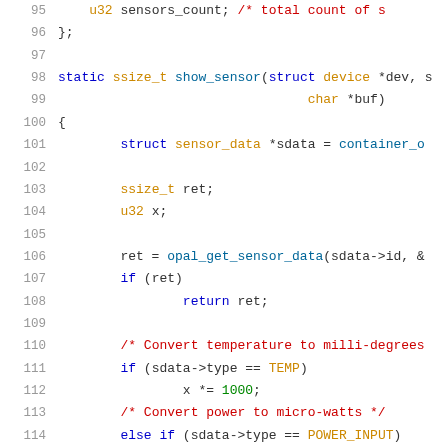Code listing lines 95-116, C source code for sensor driver
95: u32 sensors_count; /* total count of s...
96: };
97: (blank)
98: static ssize_t show_sensor(struct device *dev, s
99:                                 char *buf)
100: {
101:         struct sensor_data *sdata = container_o
102: (blank)
103:         ssize_t ret;
104:         u32 x;
105: (blank)
106:         ret = opal_get_sensor_data(sdata->id, &
107:         if (ret)
108:                 return ret;
109: (blank)
110:         /* Convert temperature to milli-degrees
111:         if (sdata->type == TEMP)
112:                 x *= 1000;
113:         /* Convert power to micro-watts */
114:         else if (sdata->type == POWER_INPUT)
115:                 x *= 1000000;
116: (blank)